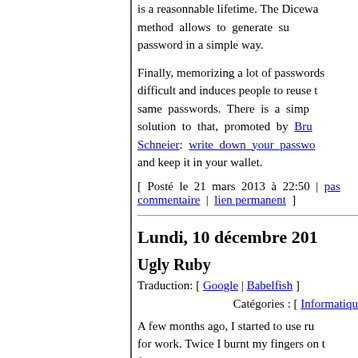is a reasonnable lifetime. The Dicewa method allows to generate su password in a simple way.
Finally, memorizing a lot of passwords difficult and induces people to reuse t same passwords. There is a simp solution to that, promoted by Bruce Schneier: write down your passwo and keep it in your wallet.
[ Posté le 21 mars 2013 à 22:50 | pas commentaire | lien permanent ]
Lundi, 10 décembre 201
Ugly Ruby
Traduction: [ Google | Babelfish ]
Catégories : [ Informatiqu
A few months ago, I started to use ru for work. Twice I burnt my fingers on t followi g b h i i Rub